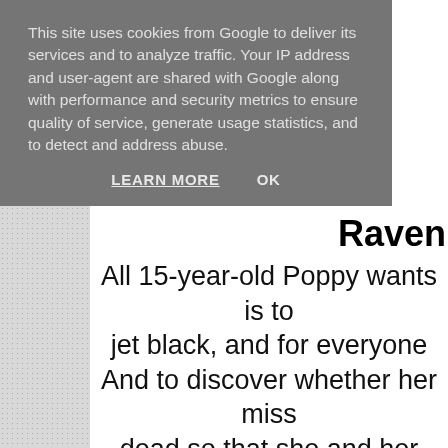This site uses cookies from Google to deliver its services and to analyze traffic. Your IP address and user-agent are shared with Google along with performance and security metrics to ensure quality of service, generate usage statistics, and to detect and address abuse.
LEARN MORE   OK
Raven
All 15-year-old Poppy wants is to jet black, and for everyone And to discover whether her miss dead so that she and her parents their lives Can Poppy find Stephen, and a pl time?